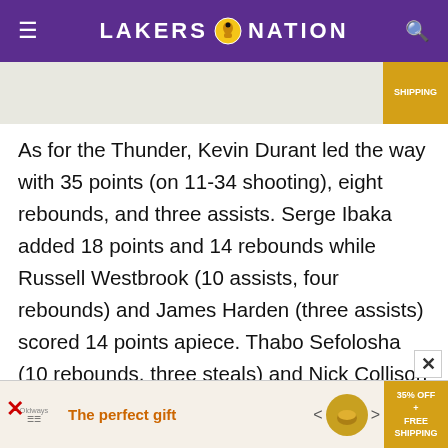LAKERS NATION
[Figure (other): Partial advertisement banner at top with SHIPPING badge]
As for the Thunder, Kevin Durant led the way with 35 points (on 11-34 shooting), eight rebounds, and three assists. Serge Ibaka added 18 points and 14 rebounds while Russell Westbrook (10 assists, four rebounds) and James Harden (three assists) scored 14 points apiece. Thabo Sefolosha (10 rebounds, three steals) and Nick Collison (six rebounds, two assists) added six points each. Former Laker Derek Fisher scored five points and dished out two assists in just 13 minutes of play
[Figure (other): Advertisement banner at bottom: The perfect gift, 35% OFF + FREE SHIPPING]